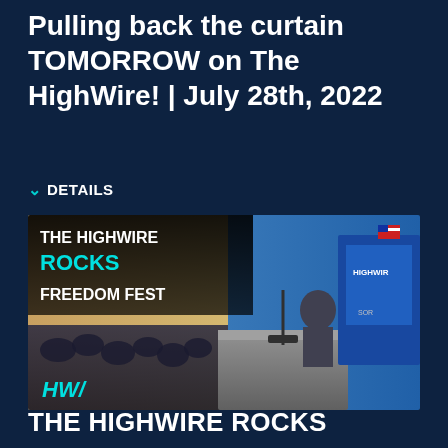Pulling back the curtain TOMORROW on The HighWire! | July 28th, 2022
DETAILS
[Figure (photo): Promotional image for The HighWire Rocks Freedom Fest event, showing a host speaking at a podium on a stage with an audience, overlaid with text: THE HIGHWIRE ROCKS FREEDOM FEST and an HW logo]
THE HIGHWIRE ROCKS